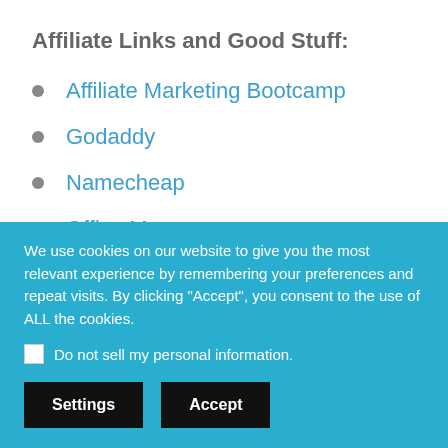Affiliate Links and Good Stuff:
Affiliate Marketing Bootcamp
Godaddy
Namecheap
Office Max
Vitamix
We use cookies on our website to give you the most relevant experience by remembering your preferences and repeat visits. By clicking "Accept", you consent to the use of ALL the cookies.
Do not sell my personal information.
Settings  Accept